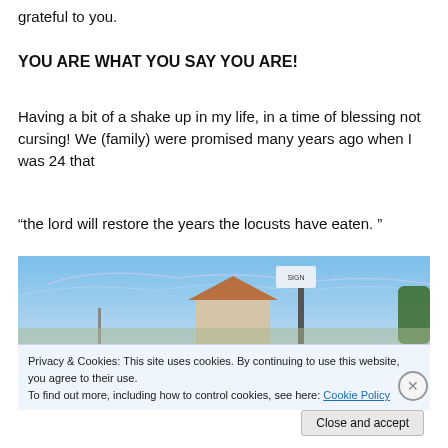grateful to you.
YOU ARE WHAT YOU SAY YOU ARE!
Having a bit of a shake up in my life, in a time of blessing not cursing! We (family) were promised many years ago when I was 24 that
“the lord will restore the years the locusts have eaten. ”
[Figure (photo): Outdoor photograph showing a house with a tiled roof, a street sign post, blue sky with light clouds, and trees in the background.]
Privacy & Cookies: This site uses cookies. By continuing to use this website, you agree to their use.
To find out more, including how to control cookies, see here: Cookie Policy
Close and accept